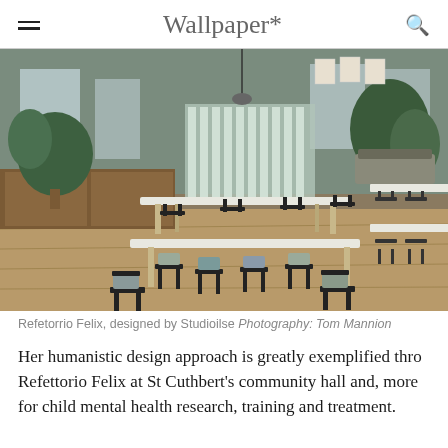Wallpaper*
[Figure (photo): Interior of Refetorrio Felix community dining hall designed by Studioilse, showing white rectangular tables with dark metal and wood chairs arranged on a wood floor, with plants and windows in the background.]
Refetorrio Felix, designed by Studioilse Photography: Tom Mannion
Her humanistic design approach is greatly exemplified thro Refettorio Felix at St Cuthbert's community hall and, more for child mental health research, training and treatment.